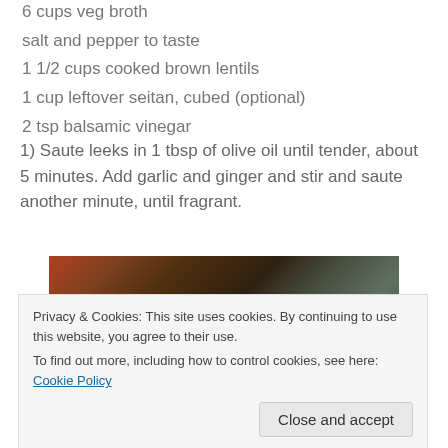6 cups veg broth
salt and pepper to taste
1 1/2 cups cooked brown lentils
1 cup leftover seitan, cubed (optional)
2 tsp balsamic vinegar
1) Saute leeks in 1 tbsp of olive oil until tender, about 5 minutes. Add garlic and ginger and stir and saute another minute, until fragrant.
[Figure (photo): A photo of a pan with vegetables being sauteed, showing a wooden spoon and what appears to be leeks or onions cooking in a pan.]
Privacy & Cookies: This site uses cookies. By continuing to use this website, you agree to their use.
To find out more, including how to control cookies, see here: Cookie Policy
Close and accept